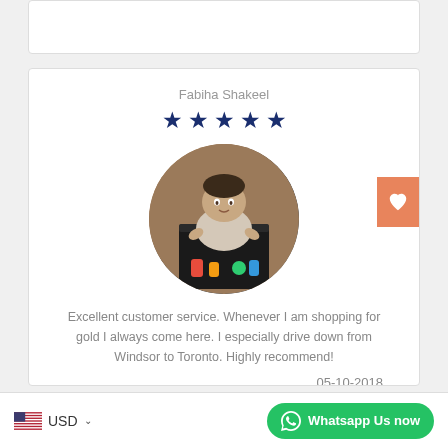Fabiha Shakeel
[Figure (illustration): Five dark navy blue star icons representing a 5-star rating]
[Figure (photo): Circular profile photo of a baby/toddler sitting inside a black box, wearing a light-colored outfit, with brick wall background]
Excellent customer service. Whenever I am shopping for gold I always come here. I especially drive down from Windsor to Toronto. Highly recommend!
05-10-2018
USD
Whatsapp Us now